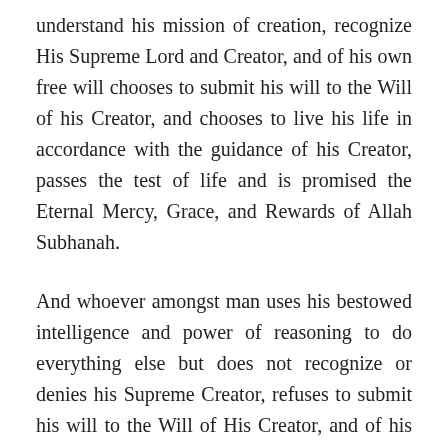understand his mission of creation, recognize His Supreme Lord and Creator, and of his own free will chooses to submit his will to the Will of his Creator, and chooses to live his life in accordance with the guidance of his Creator, passes the test of life and is promised the Eternal Mercy, Grace, and Rewards of Allah Subhanah.
And whoever amongst man uses his bestowed intelligence and power of reasoning to do everything else but does not recognize or denies his Supreme Creator, refuses to submit his will to the Will of His Creator, and of his own free will chooses to live his life in accordance with any guidance other than that of His Supreme Creator, miserably fails the test of